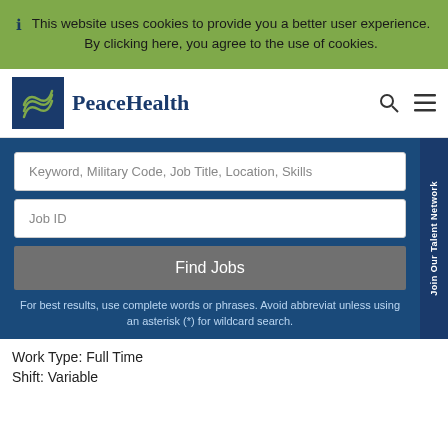This website uses cookies to provide you a better user experience. By clicking here, you agree to the use of cookies.
[Figure (logo): PeaceHealth logo with wave symbol in blue square and PeaceHealth text]
Keyword, Military Code, Job Title, Location, Skills
Job ID
Find Jobs
For best results, use complete words or phrases. Avoid abbreviat unless using an asterisk (*) for wildcard search.
Join Our Talent Network
Work Type: Full Time
Shift: Variable